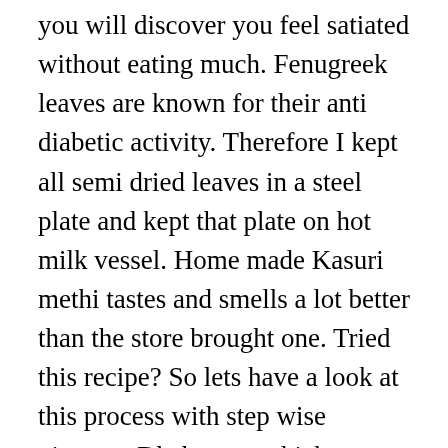you will discover you feel satiated without eating much. Fenugreek leaves are known for their anti diabetic activity. Therefore I kept all semi dried leaves in a steel plate and kept that plate on hot milk vessel. Home made Kasuri methi tastes and smells a lot better than the store brought one. Tried this recipe? So lets have a look at this process with step wise pictures. Dhebras are thicker, hand flattened and healthier cousins of traditional, quintessential Gujarati snack Theplas which are quite famous (or shall I say ill famous? Methi Murg is delicious served with plain rice, a salad, and raita. What is methi. Methi is another word for fenugreek, and this herb adds a lovely,